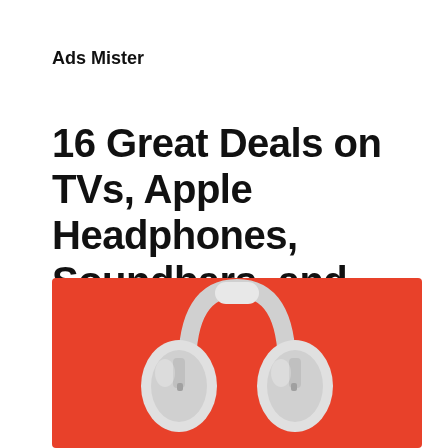Ads Mister
16 Great Deals on TVs, Apple Headphones, Soundbars, and More
[Figure (photo): Apple AirPods Max silver over-ear headphones on a red/orange background]